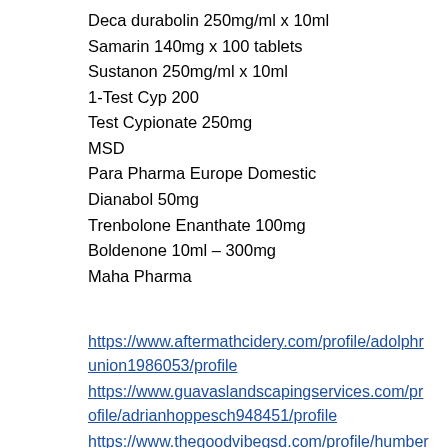Deca durabolin 250mg/ml x 10ml
Samarin 140mg x 100 tablets
Sustanon 250mg/ml x 10ml
1-Test Cyp 200
Test Cypionate 250mg
MSD
Para Pharma Europe Domestic
Dianabol 50mg
Trenbolone Enanthate 100mg
Boldenone 10ml – 300mg
Maha Pharma
https://www.aftermathcidery.com/profile/adolphrunion1986053/profile
https://www.guavaslandscapingservices.com/profile/adrianhoppesch948451/profile
https://www.thegoodvibegsd.com/profile/humbertocamancho545291/profile